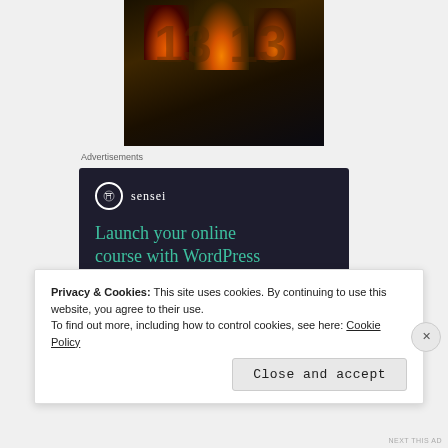[Figure (photo): Super Deluxe Box Set promotional image with fire/mushroom visuals and photo spread, white bold text reading 'SUPER DELUXE BOX SET']
Advertisements
[Figure (screenshot): Sensei advertisement on dark navy background. Logo circle with tree icon and 'sensei' text. Headline: 'Launch your online course with WordPress'. Teal 'Learn More' button partially visible.]
Privacy & Cookies: This site uses cookies. By continuing to use this website, you agree to their use.
To find out more, including how to control cookies, see here: Cookie Policy
Close and accept